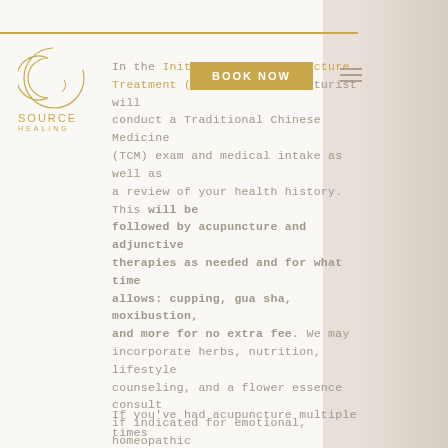[Figure (logo): Source Healing logo - crescent moon circle in gold with 'source' text and 'HEALING' subtext]
In the Initial Eval + Acupuncture Treatment (8...) the acupuncturist will conduct a Traditional Chinese Medicine (TCM) exam and medical intake as well as a review of your health history. This will be followed by acupuncture and adjunctive therapies as needed and for what time allows: cupping, gua sha, moxibustion, and more for no extra fee. We may incorporate herbs, nutrition, lifestyle counseling, and a flower essence consult if indicated for emotional, homeopathic support. A written report will also be emailed to you afterwards which will include a TCM diagnosis, supplement & nutrition recommendations, and frequency of visits needed to see results. This type of appointment is recommended most to those with little to no experience with acupuncture, or if you've had acupuncture in the past but wanting to start treatment for a new condition/concern.
If you've had acupuncture multiple times